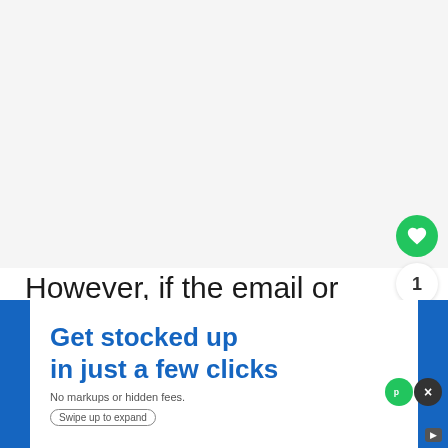However, if the email or text message sent by PayPal is not genuine and contains links or any other kind of code, you should delete it immediately. With this step, you can protect
[Figure (screenshot): Advertisement overlay showing 'Get stocked up in just a few clicks' in blue text on white background, with 'No markups or hidden fees.' and 'Swipe up to expand' pill. Blue background visible on sides. UI buttons: green circle with P letter and black X close button.]